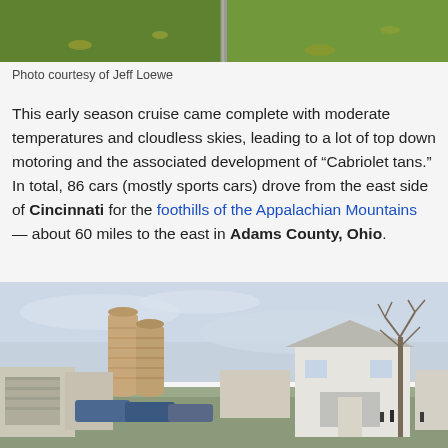[Figure (photo): Top portion of a photo showing green grass lawn with a metal pole in the center]
Photo courtesy of Jeff Loewe
This early season cruise came complete with moderate temperatures and cloudless skies, leading to a lot of top down motoring and the associated development of “Cabriolet tans.” In total, 86 cars (mostly sports cars) drove from the east side of Cincinnati for the foothills of the Appalachian Mountains — about 60 miles to the east in Adams County, Ohio.
[Figure (photo): Farm scene in Adams County, Ohio showing grain silos, farm buildings, a white house, bare trees, and parked cars under an overcast sky]